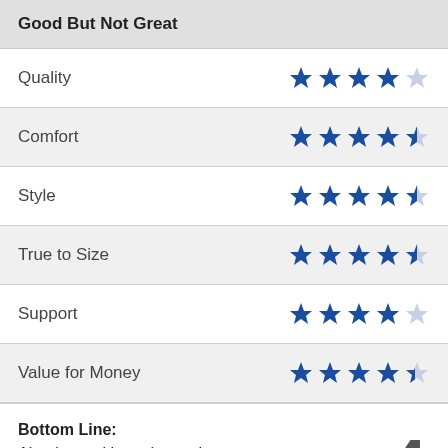Good But Not Great
| Category | Rating |
| --- | --- |
| Quality | 4/5 stars |
| Comfort | 4.5/5 stars |
| Style | 4.5/5 stars |
| True to Size | 4.5/5 stars |
| Support | 4.5/5 stars |
| Value for Money | 4/5 stars |
Bottom Line: Altra have skimped over the quality of this shoe as it doesn't last as long as other shoes in
4